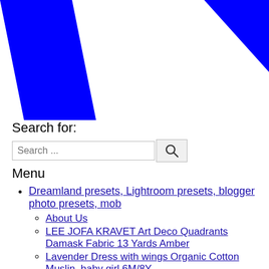[Figure (logo): Blue diagonal stripe/chevron logo on white background]
Search for:
Search ...
Menu
Dreamland presets, Lightroom presets, blogger photo presets, mob
About Us
LEE JOFA KRAVET Art Deco Quadrants Damask Fabric 13 Yards Amber
Lavender Dress with wings Organic Cotton Muslin, baby girl 6M/8Y
Mannkal Scholarship Program
Research & Publications
Vintage Sea Monster Print #39;Colossal Squidquot; Antique